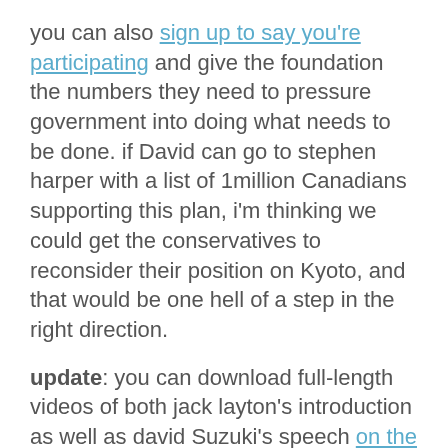you can also sign up to say you're participating and give the foundation the numbers they need to pressure government into doing what needs to be done. if David can go to stephen harper with a list of 1million Canadians supporting this plan, i'm thinking we could get the conservatives to reconsider their position on Kyoto, and that would be one hell of a step in the right direction.
update: you can download full-length videos of both jack layton's introduction as well as david Suzuki's speech on the ndp site.
Society & Culture
Why I'm Here
9 comments
Comments